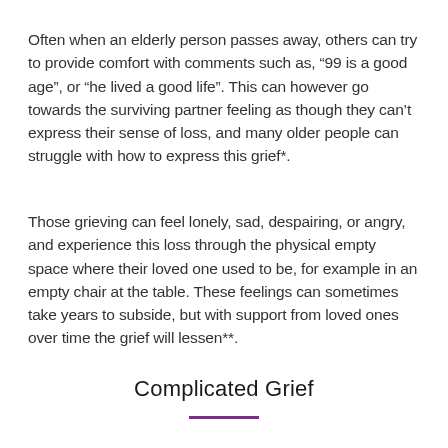Often when an elderly person passes away, others can try to provide comfort with comments such as, “99 is a good age”, or “he lived a good life”. This can however go towards the surviving partner feeling as though they can’t express their sense of loss, and many older people can struggle with how to express this grief*.
Those grieving can feel lonely, sad, despairing, or angry, and experience this loss through the physical empty space where their loved one used to be, for example in an empty chair at the table. These feelings can sometimes take years to subside, but with support from loved ones over time the grief will lessen**.
Complicated Grief